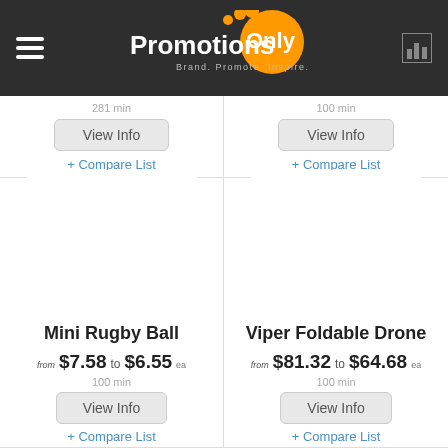PromotionsOnly — Brand. Promote. Inspire.
min / View Info / + Compare List (top-left product, partial)
min / View Info / + Compare List (top-right product, partial)
[Figure (photo): Mini Rugby Ball product image (white area)]
Mini Rugby Ball
from $7.58 to $6.55 ea
100 min
View Info
+ Compare List
[Figure (photo): Viper Foldable Drone product image (white area)]
Viper Foldable Drone
from $81.32 to $64.68 ea
100 min
View Info
+ Compare List